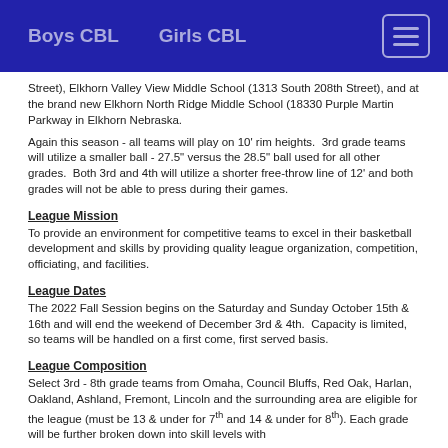Boys CBL    Girls CBL
Street), Elkhorn Valley View Middle School (1313 South 208th Street), and at the brand new Elkhorn North Ridge Middle School (18330 Purple Martin Parkway in Elkhorn Nebraska.
Again this season - all teams will play on 10' rim heights.  3rd grade teams will utilize a smaller ball - 27.5" versus the 28.5" ball used for all other grades.  Both 3rd and 4th will utilize a shorter free-throw line of 12' and both grades will not be able to press during their games.
League Mission
To provide an environment for competitive teams to excel in their basketball development and skills by providing quality league organization, competition, officiating, and facilities.
League Dates
The 2022 Fall Session begins on the Saturday and Sunday October 15th & 16th and will end the weekend of December 3rd & 4th.  Capacity is limited, so teams will be handled on a first come, first served basis.
League Composition
Select 3rd - 8th grade teams from Omaha, Council Bluffs, Red Oak, Harlan, Oakland, Ashland, Fremont, Lincoln and the surrounding area are eligible for the league (must be 13 & under for 7th and 14 & under for 8th). Each grade will be further broken down into skill levels with